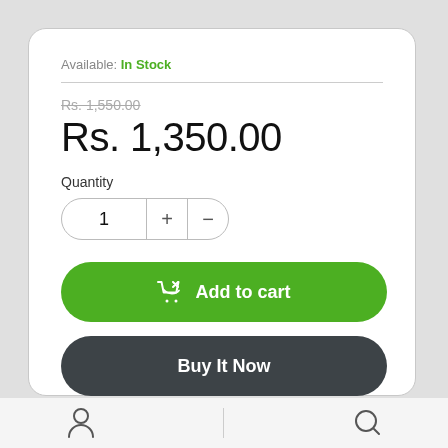Available: In Stock
Rs. 1,550.00
Rs. 1,350.00
Quantity
1 + −
Add to cart
Buy It Now